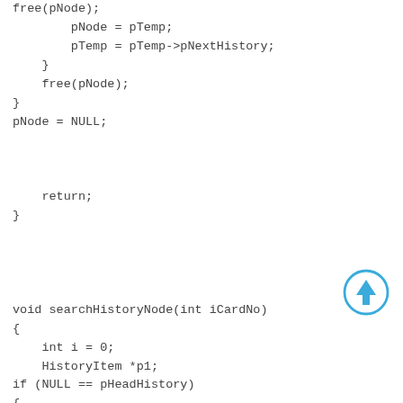free(pNode);
        pNode = pTemp;
        pTemp = pTemp->pNextHistory;
    }
    free(pNode);
}
pNode = NULL;



    return;
}




void searchHistoryNode(int iCardNo)
{
    int i = 0;
    HistoryItem *p1;
if (NULL == pHeadHistory)
{
apiPrintErrInfo(E99);
return;
[Figure (other): Blue circle with upward arrow icon]